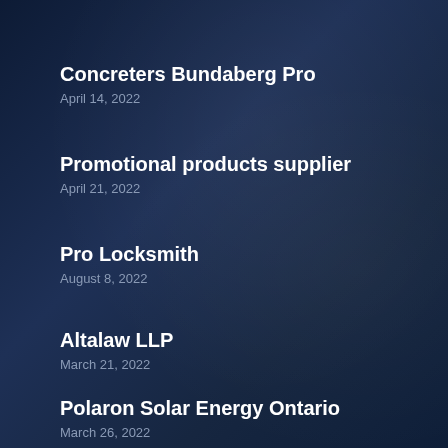Concreters Bundaberg Pro
April 14, 2022
Promotional products supplier
April 21, 2022
Pro Locksmith
August 8, 2022
Altalaw LLP
March 21, 2022
Polaron Solar Energy Ontario
March 26, 2022